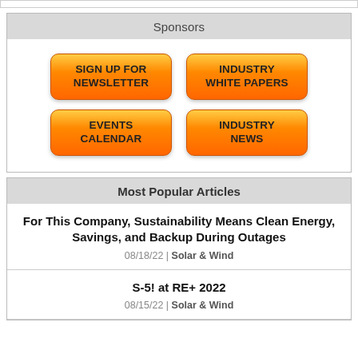Sponsors
[Figure (infographic): Four orange buttons: SIGN UP FOR NEWSLETTER, INDUSTRY WHITE PAPERS, EVENTS CALENDAR, INDUSTRY NEWS]
Most Popular Articles
For This Company, Sustainability Means Clean Energy, Savings, and Backup During Outages
08/18/22 | Solar & Wind
S-5! at RE+ 2022
08/15/22 | Solar & Wind